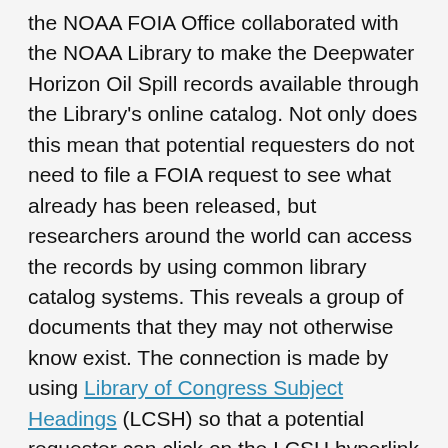the NOAA FOIA Office collaborated with the NOAA Library to make the Deepwater Horizon Oil Spill records available through the Library's online catalog. Not only does this mean that potential requesters do not need to file a FOIA request to see what already has been released, but researchers around the world can access the records by using common library catalog systems. This reveals a group of documents that they may not otherwise know exist. The connection is made by using Library of Congress Subject Headings (LCSH) so that a potential requester can click on the LCSH hyperlink on the NOAA website to see what other information may be available through multiple international cataloging services. A link to the NOAA Library Catalog can be found on the NOAA FOIA homepage.
Here is what the LCSH or Subject term links look like after searching for "NOAA FOIA documents":